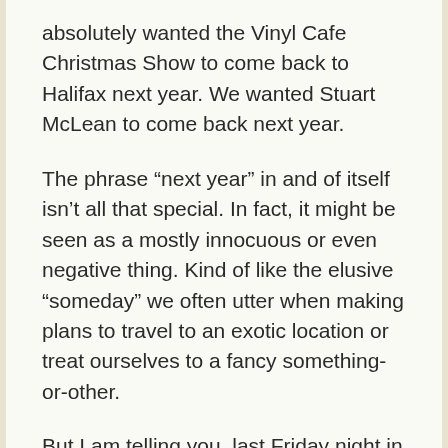absolutely wanted the Vinyl Cafe Christmas Show to come back to Halifax next year. We wanted Stuart McLean to come back next year.
The phrase “next year” in and of itself isn’t all that special. In fact, it might be seen as a mostly innocuous or even negative thing. Kind of like the elusive “someday” we often utter when making plans to travel to an exotic location or treat ourselves to a fancy something-or-other.
But I am telling you, last Friday night in the Scotiabank Place the phrase “next year” was most definitely an intention. I felt it then and there as I sang it...